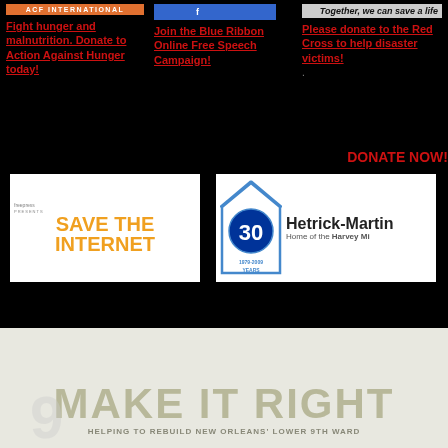[Figure (logo): ACF International orange banner logo]
Fight hunger and malnutrition. Donate to Action Against Hunger today!
[Figure (logo): Blue ribbon banner button for Blue Ribbon Online Free Speech Campaign]
Join the Blue Ribbon Online Free Speech Campaign!
Together, we can save a life
Please donate to the Red Cross to help disaster victims!
DONATE NOW!
[Figure (logo): Free Press presents Save The Internet logo with orange text]
[Figure (logo): Hetrick-Martin Institute 30 Years (1979-2009) Home of the Harvey Mi... logo with house icon]
[Figure (logo): Make It Right - Helping to Rebuild New Orleans Lower 9th Ward banner]